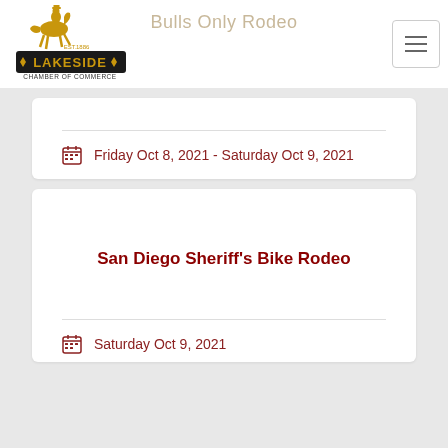[Figure (logo): Lakeside Chamber of Commerce logo with cowboy on horse, EST. 1886]
Bulls Only Rodeo
Friday Oct 8, 2021 - Saturday Oct 9, 2021
San Diego Sheriff's Bike Rodeo
Saturday Oct 9, 2021